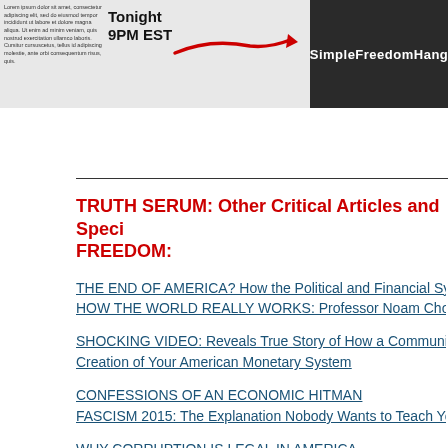[Figure (screenshot): Banner image with 'Tonight 9PM EST' text and red arrow on left (grey background), 'SimpleFreedomHang' text in white on dark right panel]
TRUTH SERUM: Other Critical Articles and Special Reports on FREEDOM:
THE END OF AMERICA? How the Political and Financial System is
HOW THE WORLD REALLY WORKS: Professor Noam Chomsky
SHOCKING VIDEO: Reveals True Story of How a Communist Sovi... Creation of Your American Monetary System
CONFESSIONS OF AN ECONOMIC HITMAN
FASCISM 2015: The Explanation Nobody Wants to Teach You
WHY CORRUPTION IS LEGAL IN AMERICA
MILITARY INDUSTRIAL COMPLEX: Dwight D Eisenhower Video W
SYRIA: BEYOND THE LIES: What is really happening in Syria and